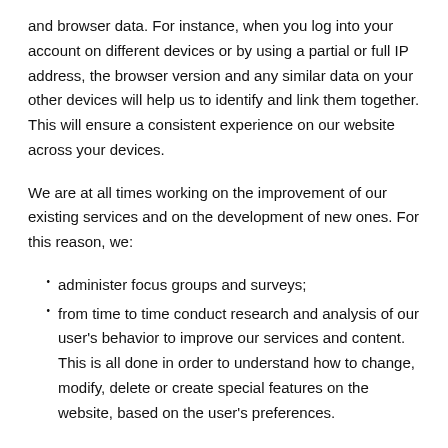and browser data. For instance, when you log into your account on different devices or by using a partial or full IP address, the browser version and any similar data on your other devices will help us to identify and link them together. This will ensure a consistent experience on our website across your devices.
We are at all times working on the improvement of our existing services and on the development of new ones. For this reason, we:
administer focus groups and surveys;
from time to time conduct research and analysis of our user's behavior to improve our services and content. This is all done in order to understand how to change, modify, delete or create special features on the website, based on the user's preferences.